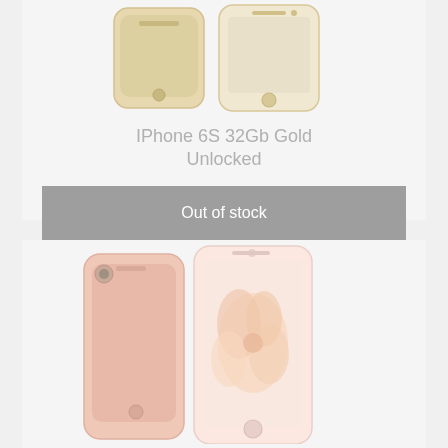[Figure (photo): Top portion of an iPhone 6S Gold showing the front screen and partial back, product listing card with light gray background]
IPhone 6S 32Gb Gold Unlocked
Out of stock
[Figure (photo): iPhone 6S Rose Gold shown from front and back angles, with rose/pink wallpaper visible on screen, product listing card with light gray background]